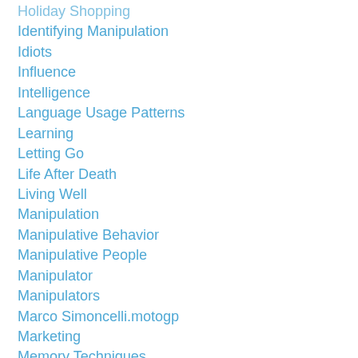Holiday Shopping
Identifying Manipulation
Idiots
Influence
Intelligence
Language Usage Patterns
Learning
Letting Go
Life After Death
Living Well
Manipulation
Manipulative Behavior
Manipulative People
Manipulator
Manipulators
Marco Simoncelli.motogp
Marketing
Memory Techniques
Motorcycle Racing
Motorcycles
Music